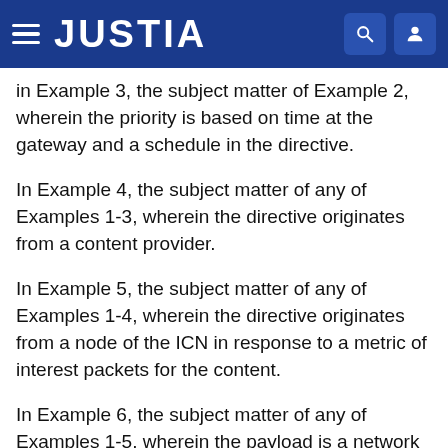JUSTIA
in Example 3, the subject matter of Example 2, wherein the priority is based on time at the gateway and a schedule in the directive.
In Example 4, the subject matter of any of Examples 1-3, wherein the directive originates from a content provider.
In Example 5, the subject matter of any of Examples 1-4, wherein the directive originates from a node of the ICN in response to a metric of interest packets for the content.
In Example 6, the subject matter of any of Examples 1-5, wherein the payload is a network coding of the content and a second content.
In Example 7, the subject matter of Example 6, wherein